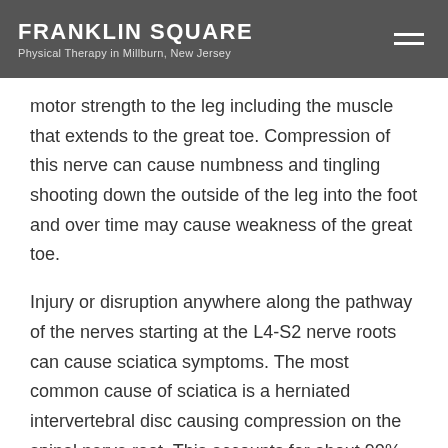FRANKLIN SQUARE Physical Therapy in Millburn, New Jersey
motor strength to the leg including the muscle that extends to the great toe. Compression of this nerve can cause numbness and tingling shooting down the outside of the leg into the foot and over time may cause weakness of the great toe.
Injury or disruption anywhere along the pathway of the nerves starting at the L4-S2 nerve roots can cause sciatica symptoms. The most common cause of sciatica is a herniated intervertebral disc causing compression on the spinal nerve root. This accounts for about 90% of sciatica cases. The most common sites of disc herniation are at the L4-5 and L5-S1 discs. The L3-4 disc can also cause sciatica symptoms, although this is less